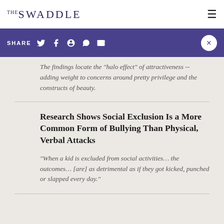THE SWADDLE
SHARE
The findings locate the "halo effect" of attractiveness -- adding weight to concerns around pretty privilege and the constructs of beauty.
Research Shows Social Exclusion Is a More Common Form of Bullying Than Physical, Verbal Attacks
"When a kid is excluded from social activities... the outcomes... [are] as detrimental as if they got kicked, punched or slapped every day."